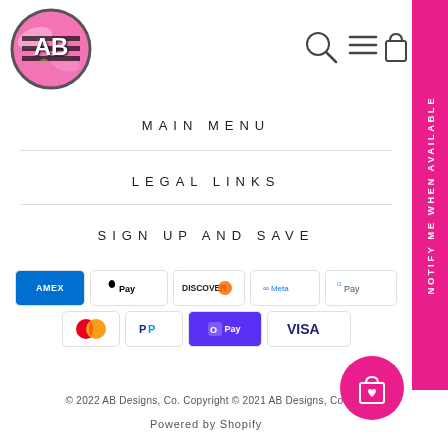[Figure (logo): Circular logo with pink marble background, black horizontal stripes, and 'AB' monogram text in white]
[Figure (illustration): Navigation icons: search magnifier, hamburger menu, shopping bag]
MAIN MENU
LEGAL LINKS
SIGN UP AND SAVE
[Figure (other): Payment method icons: American Express, Apple Pay, Discover, Meta Pay, Google Pay, Mastercard, PayPal, Shop Pay, Visa]
© 2022 AB Designs, Co. Copyright © 2021 AB Designs, Co.
Powered by Shopify
[Figure (illustration): Pink vertical sidebar with rotated text: NOTIFY ME WHEN AVAILABLE]
[Figure (illustration): Circular pink floating action button with shopping bag and heart icon]